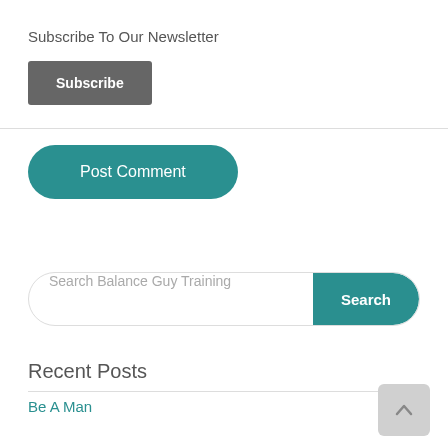×
Subscribe To Our Newsletter
Subscribe
Post Comment
Search Balance Guy Training
Search
Recent Posts
Be A Man